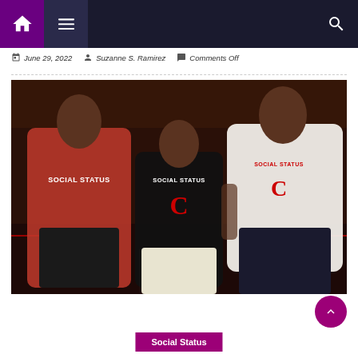Navigation bar with home, menu, and search icons
June 29, 2022  Suzanne S. Ramirez  Comments Off
[Figure (photo): Three people wearing Social Status x Champion branded clothing in a boxing gym setting. Left person wears a red t-shirt with Social Status text. Center person wears a black tee with Social Status and Champion logo. Right person wears a white sweatshirt with Champion branding.]
Social Status